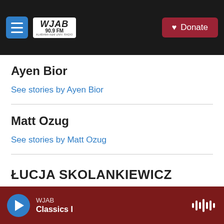WJAB 90.9 FM — Donate
Ayen Bior
See stories by Ayen Bior
Matt Ozug
See stories by Matt Ozug
ŁUCJA SKOLANKIEWICZ
WJAB Classics I